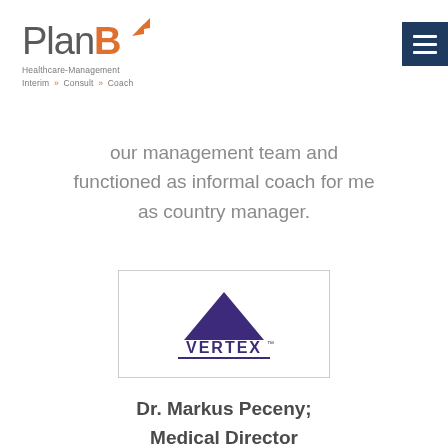[Figure (logo): PlanB Healthcare-Management logo with orange B and arrow, subtitle 'Interim · Consult · Coach']
[Figure (logo): Vertex Pharmaceuticals logo: purple triangle above VERTEX text with underline]
our management team and functioned as informal coach for me as country manager.
Dr. Markus Peceny; Medical Director Germany, Austria,